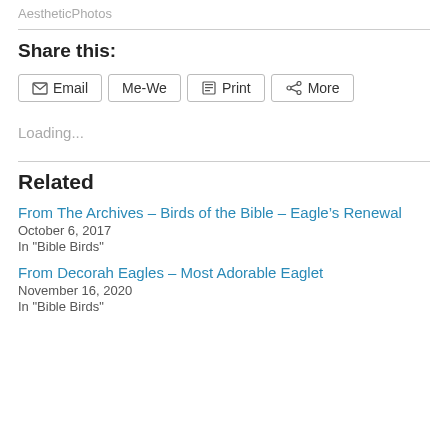AestheticPhotos
Share this:
Email  Me-We  Print  More
Loading...
Related
From The Archives – Birds of the Bible – Eagle’s Renewal
October 6, 2017
In "Bible Birds"
From Decorah Eagles – Most Adorable Eaglet
November 16, 2020
In "Bible Birds"